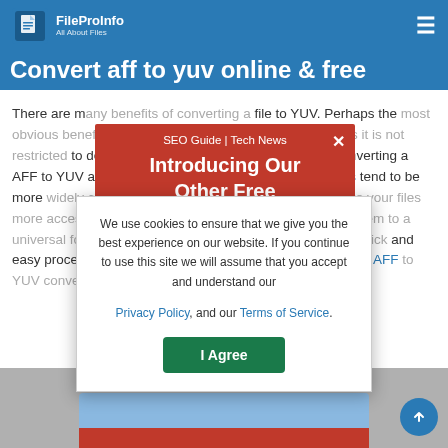AFF to YUV Converter
FileProInfo | Convert aff to yuv online & free
There are many benefits of converting a file to YUV. Perhaps the most obvious benefit is that YUV can be read on any device, as it is not restricted to devices that support proprietary formats. Converting a AFF to YUV also makes the files more portable. YUV files tend to be more widely compatible than AFF files, if you want to make your files more accessible, it is much easier to do so by converting them to a universal format. Finally, converting your files to YUV is a quick and easy process that can be done for free using this free online AFF to YUV converter.
[Figure (infographic): Red promotional banner overlay reading 'SEO Guide | Tech News' and 'Introducing Our Other Free' with a close (X) button]
[Figure (infographic): Cookie consent modal with text: 'We use cookies to ensure that we give you the best experience on our website. If you continue to use this site we will assume that you accept and understand our Privacy Policy, and our Terms of Service.' with an 'I Agree' button]